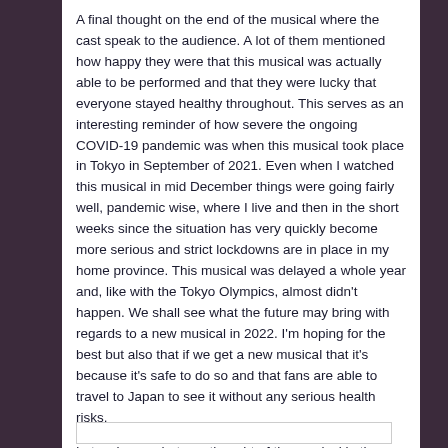A final thought on the end of the musical where the cast speak to the audience. A lot of them mentioned how happy they were that this musical was actually able to be performed and that they were lucky that everyone stayed healthy throughout. This serves as an interesting reminder of how severe the ongoing COVID-19 pandemic was when this musical took place in Tokyo in September of 2021. Even when I watched this musical in mid December things were going fairly well, pandemic wise, where I live and then in the short weeks since the situation has very quickly become more serious and strict lockdowns are in place in my home province. This musical was delayed a whole year and, like with the Tokyo Olympics, almost didn't happen. We shall see what the future may bring with regards to a new musical in 2022. I'm hoping for the best but also that if we get a new musical that it's because it's safe to do so and that fans are able to travel to Japan to see it without any serious health risks.
Let us know what you thought of the musical in the comments!